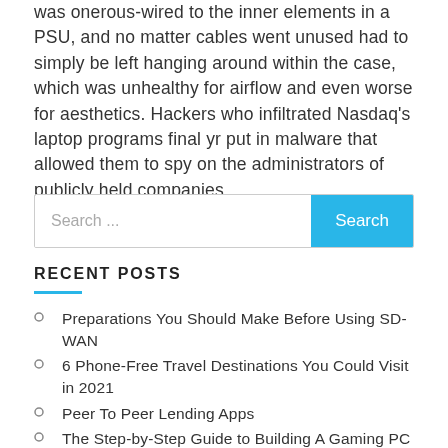was onerous-wired to the inner elements in a PSU, and no matter cables went unused had to simply be left hanging around within the case, which was unhealthy for airflow and even worse for aesthetics. Hackers who infiltrated Nasdaq's laptop programs final yr put in malware that allowed them to spy on the administrators of publicly held companies.
Search ...
RECENT POSTS
Preparations You Should Make Before Using SD-WAN
6 Phone-Free Travel Destinations You Could Visit in 2021
Peer To Peer Lending Apps
The Step-by-Step Guide to Building A Gaming PC
Educations That Will Impact the Future of Banking